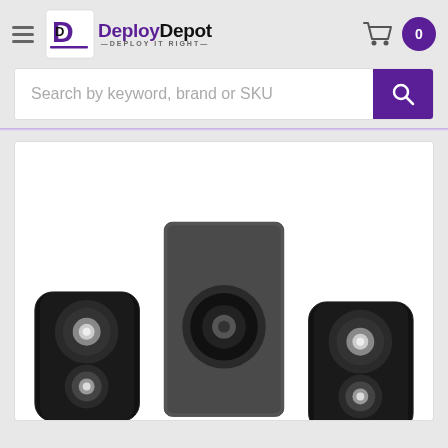DeployDepot — DEPLOY IT RIGHT — header with hamburger menu, cart icon, and badge showing 0
Search by keyword, brand or SKU
[Figure (photo): Product photo of a 2.1 speaker system with two small black satellite speakers on left and right, and a larger dark grey rectangular subwoofer in the center, all on white background]